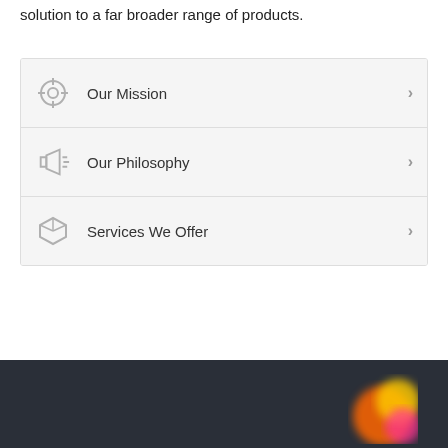solution to a far broader range of products.
Our Mission
Our Philosophy
Services We Offer
[Figure (illustration): Dark footer bar with a colorful blurred logo/icon in the bottom right corner]